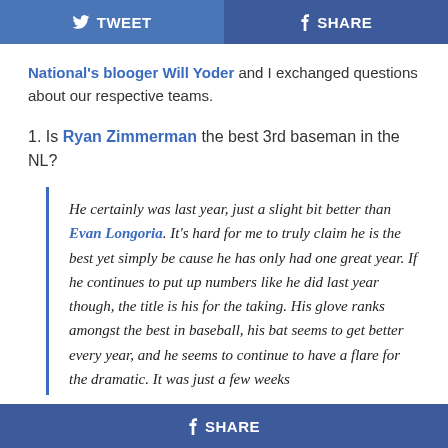TWEET | SHARE
National's blooger Will Yoder and I exchanged questions about our respective teams.
1. Is Ryan Zimmerman the best 3rd baseman in the NL?
He certainly was last year, just a slight bit better than Evan Longoria. It's hard for me to truly claim he is the best yet simply be cause he has only had one great year. If he continues to put up numbers like he did last year though, the title is his for the taking. His glove ranks amongst the best in baseball, his bat seems to get better every year, and he seems to continue to have a flare for the dramatic. It was just a few weeks
SHARE